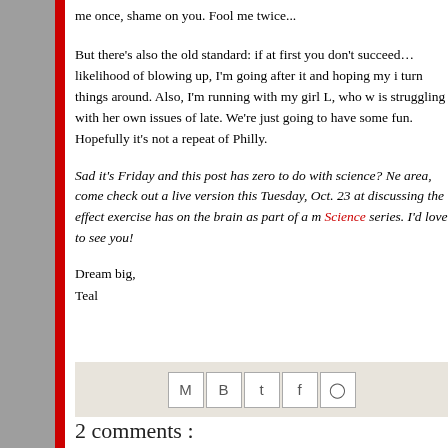me once, shame on you. Fool me twice...
But there’s also the old standard: if at first you don’t succeed… likelihood of blowing up, I’m going after it and hoping my i turn things around. Also, I’m running with my girl L, who w is struggling with her own issues of late. We’re just going to have some fun. Hopefully it’s not a repeat of Philly.
Sad it’s Friday and this post has zero to do with science? Ne area, come check out a live version this Tuesday, Oct. 23 at discussing the effect exercise has on the brain as part of a m Science series. I’d love to see you!
Dream big,
Teal
[Figure (other): Social share icons bar: email (M), Blogger (B), Twitter (t), Facebook (f), Pinterest (pin)]
2 comments :